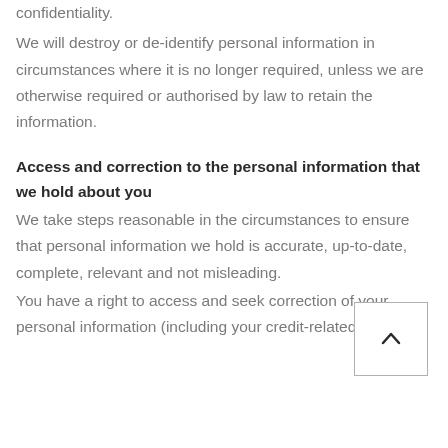confidentiality.
We will destroy or de-identify personal information in circumstances where it is no longer required, unless we are otherwise required or authorised by law to retain the information.
Access and correction to the personal information that we hold about you
We take steps reasonable in the circumstances to ensure that personal information we hold is accurate, up-to-date, complete, relevant and not misleading.
You have a right to access and seek correction of your personal information (including your credit-related personal information, as discussed below).